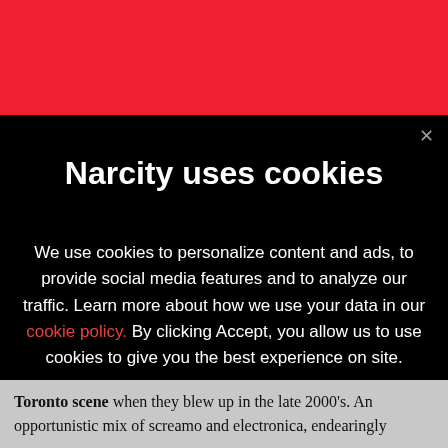[Figure (screenshot): Red header banner of Narcity website]
Narcity uses cookies
We use cookies to personalize content and ads, to provide social media features and to analyze our traffic. Learn more about how we use your data in our cookie policy. By clicking Accept, you allow us to use cookies to give you the best experience on site.
Accept
Toronto scene when they blew up in the late 2000's. An opportunistic mix of screamo and electronica, endearingly